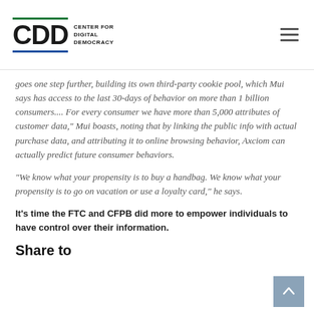CDD — Center for Digital Democracy
goes one step further, building its own third-party cookie pool, which Mui says has access to the last 30-days of behavior on more than 1 billion consumers.... For every consumer we have more than 5,000 attributes of customer data," Mui boasts, noting that by linking the public info with actual purchase data, and attributing it to online browsing behavior, Axciom can actually predict future consumer behaviors.
"We know what your propensity is to buy a handbag. We know what your propensity is to go on vacation or use a loyalty card," he says.
It's time the FTC and CFPB did more to empower individuals to have control over their information.
Share to